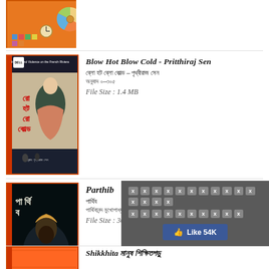[Figure (photo): Partial top view of an orange book cover with colorful circular pattern]
[Figure (photo): Book cover of 'Blow Hot Blow Cold' translated by Pritthiraj Sen, showing a woman in a green dress and detective scene]
Blow Hot Blow Cold - Pritthiraj Sen
ব্লো হট ব্লো কোল্ড – পৃথ্বীরাজ সেন
অনুবাদ ০–৩০৫
File Size : 1.4 MB
[Figure (photo): Book cover of 'Parthib' showing a figure with turban against dark background]
Parthib
পার্থিব
পার্থিবানন্দ মুখোপাধ্যায়
File Size : 30.95 MB
[Figure (screenshot): Dark notification overlay with X placeholder tiles and Facebook Like button showing 54K likes]
[Figure (photo): Partial bottom orange book cover, just the spine/top visible]
Shikkhita মানুষ শিক্ষিতগড়ু